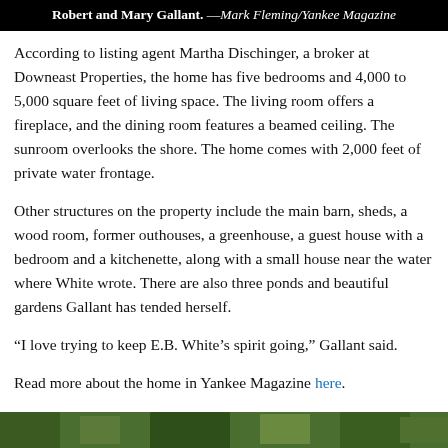Robert and Mary Gallant. —Mark Fleming/Yankee Magazine
According to listing agent Martha Dischinger, a broker at Downeast Properties, the home has five bedrooms and 4,000 to 5,000 square feet of living space. The living room offers a fireplace, and the dining room features a beamed ceiling. The sunroom overlooks the shore. The home comes with 2,000 feet of private water frontage.
Other structures on the property include the main barn, sheds, a wood room, former outhouses, a greenhouse, a guest house with a bedroom and a kitchenette, along with a small house near the water where White wrote. There are also three ponds and beautiful gardens Gallant has tended herself.
“I love trying to keep E.B. White’s spirit going,” Gallant said.
Read more about the home in Yankee Magazine here.
[Figure (photo): Bottom strip of a photo, showing green foliage or plant material]